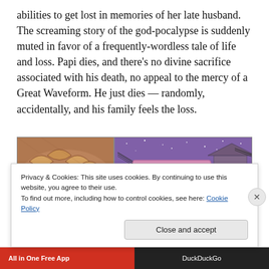abilities to get lost in memories of her late husband. The screaming story of the god-pocalypse is suddenly muted in favor of a frequently-wordless tale of life and loss. Papi dies, and there's no divine sacrifice associated with his death, no appeal to the mercy of a Great Waveform. He just dies — randomly, accidentally, and his family feels the loss.
[Figure (illustration): Two comic book panels side by side. Left panel shows a close-up of a fish or scaled creature. Right panel shows a pink/purple twilight scene with a trailer or mobile home and power lines against a starry sky.]
Privacy & Cookies: This site uses cookies. By continuing to use this website, you agree to their use.
To find out more, including how to control cookies, see here: Cookie Policy
Close and accept
All in One Free App    DuckDuckGo